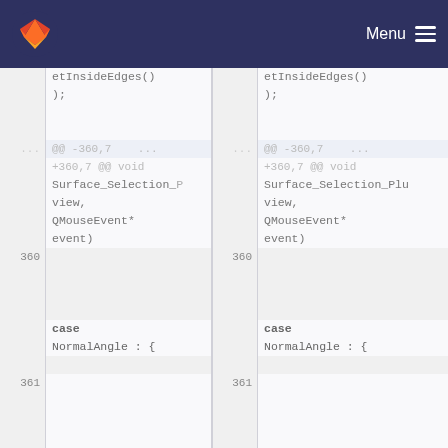GitLab navigation bar with logo and Menu
[Figure (screenshot): Side-by-side code diff view showing two columns of code with line numbers. Left and right panels show similar C++ code fragments including etInsideEdges(), );, a hunk header @@ -360,7 ... +360,7 @@ void Surface_Selection_... view, QMouseEvent* event), line numbers 360 and 361, and case NormalAngle : { in bold.]